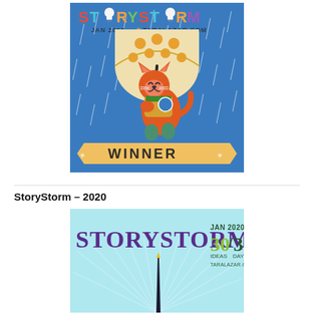[Figure (illustration): StoryStorm Jan 2019 taralazar.com Winner badge featuring an orange cat holding an umbrella in the rain on a blue background with a banner saying WINNER]
StoryStorm – 2020
[Figure (illustration): StoryStorm Jan 2020 30/31 Ideas/Days taralazar.com badge on light blue background with stylized text and a pencil or pen graphic]